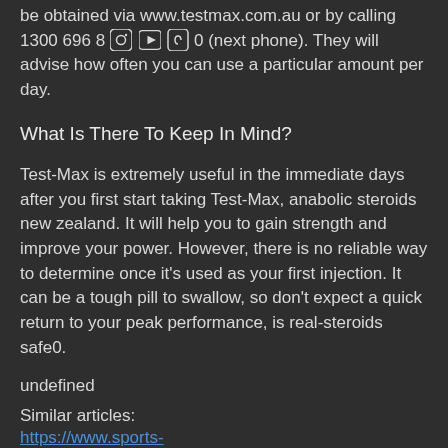be obtained via www.testmax.com.au or by calling 1300 696 890 (next phone). They will advise how often you can use a particular amount per day.
What Is There To Keep In Mind?
Test-Max is extremely useful in the immediate days after you first start taking Test-Max, anabolic steroids new zealand. It will help you to gain strength and improve your power. However, there is no reliable way to determine once it's used as your first injection. It can be a tough pill to swallow, so don't expect a quick return to your peak performance, is real-steroids safe0.
undefined
Similar articles:
https://www.sports-